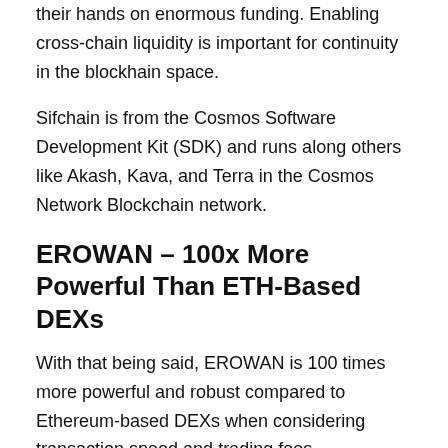The only way for DAOs to be self-subsistent is to get their hands on enormous funding. Enabling cross-chain liquidity is important for continuity in the blockhain space.
Sifchain is from the Cosmos Software Development Kit (SDK) and runs along others like Akash, Kava, and Terra in the Cosmos Network Blockchain network.
EROWAN – 100x More Powerful Than ETH-Based DEXs
With that being said, EROWAN is 100 times more powerful and robust compared to Ethereum-based DEXs when considering transaction speed and trading fees.